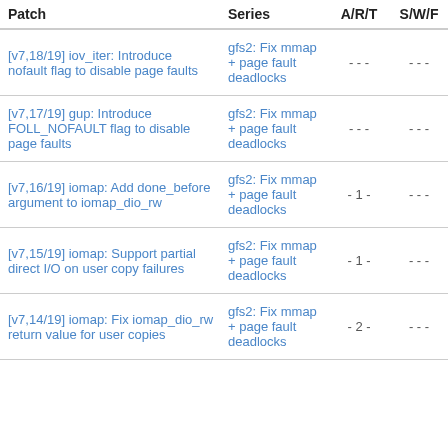| Patch | Series | A/R/T | S/W/F |
| --- | --- | --- | --- |
| [v7,18/19] iov_iter: Introduce nofault flag to disable page faults | gfs2: Fix mmap + page fault deadlocks | - - - | - - - |
| [v7,17/19] gup: Introduce FOLL_NOFAULT flag to disable page faults | gfs2: Fix mmap + page fault deadlocks | - - - | - - - |
| [v7,16/19] iomap: Add done_before argument to iomap_dio_rw | gfs2: Fix mmap + page fault deadlocks | - 1 - | - - - |
| [v7,15/19] iomap: Support partial direct I/O on user copy failures | gfs2: Fix mmap + page fault deadlocks | - 1 - | - - - |
| [v7,14/19] iomap: Fix iomap_dio_rw return value for user copies | gfs2: Fix mmap + page fault deadlocks | - 2 - | - - - |